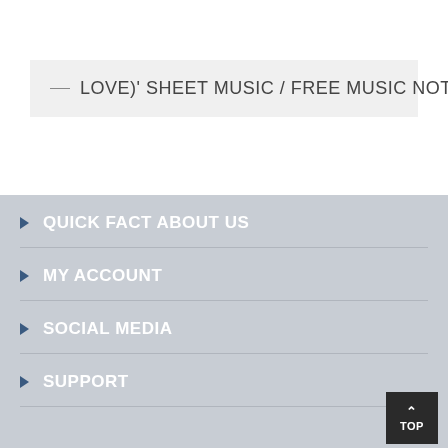LOVE)' SHEET MUSIC / FREE MUSIC NOTES
QUICK FACT ABOUT US
MY ACCOUNT
SOCIAL MEDIA
SUPPORT